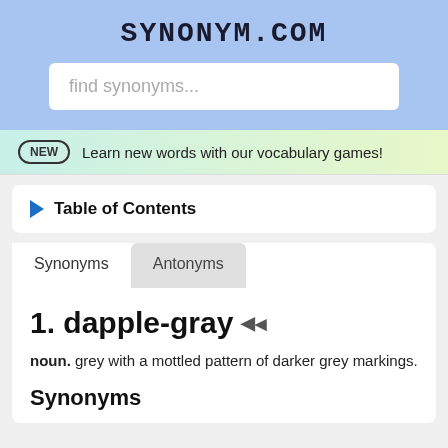SYNONYM.COM
find synonyms...
NEW  Learn new words with our vocabulary games!
Table of Contents
Synonyms   Antonyms
1. dapple-gray
noun. grey with a mottled pattern of darker grey markings.
Synonyms